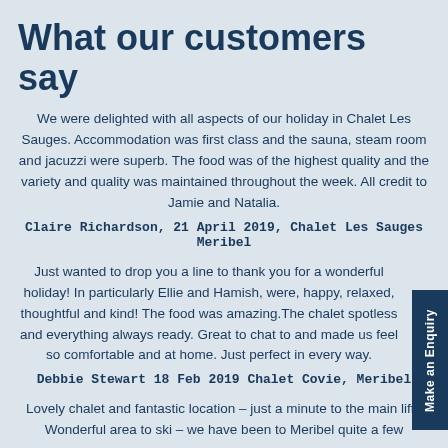What our customers say
We were delighted with all aspects of our holiday in Chalet Les Sauges. Accommodation was first class and the sauna, steam room and jacuzzi were superb. The food was of the highest quality and the variety and quality was maintained throughout the week. All credit to Jamie and Natalia.
Claire Richardson, 21 April 2019, Chalet Les Sauges Meribel
Just wanted to drop you a line to thank you for a wonderful holiday! In particularly Ellie and Hamish, were, happy, relaxed, thoughtful and kind! The food was amazing.The chalet spotless and everything always ready. Great to chat to and made us feel so comfortable and at home. Just perfect in every way.
Debbie Stewart 18 Feb 2019 Chalet Covie, Meribel
Lovely chalet and fantastic location – just a minute to the main lift . Wonderful area to ski – we have been to Meribel quite a few